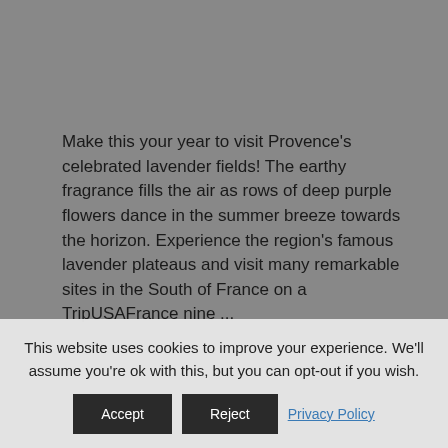Make this your year to visit Provence's celebrated lavender fields! The earthy fragrance fills the air as rows of deep purple flowers dance in the summer breeze towards the horizon. Experience the region's famous lavender plateaus and visit many remarkable sites in the South of France on a TripUSAFrance nine ...
READ MORE ›
[Figure (photo): A narrow horizontal strip showing a landscape with tree silhouettes against a light blue-grey sky]
This website uses cookies to improve your experience. We'll assume you're ok with this, but you can opt-out if you wish.
Accept  Reject  Privacy Policy